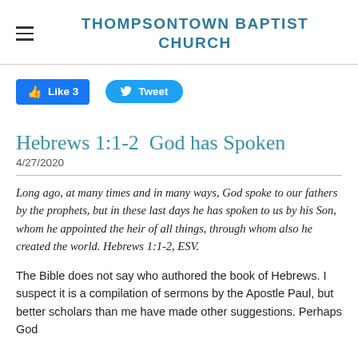THOMPSONTOWN BAPTIST CHURCH
[Figure (screenshot): Facebook Like button showing 3 likes and Twitter Tweet button]
Hebrews 1:1-2  God has Spoken
4/27/2020
Long ago, at many times and in many ways, God spoke to our fathers by the prophets, but in these last days he has spoken to us by his Son, whom he appointed the heir of all things, through whom also he created the world. Hebrews 1:1-2, ESV.
The Bible does not say who authored the book of Hebrews. I suspect it is a compilation of sermons by the Apostle Paul, but better scholars than me have made other suggestions. Perhaps God